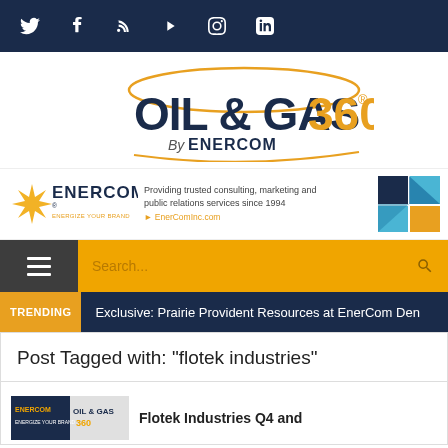Social media icons: Twitter, Facebook, RSS, Play, Instagram, LinkedIn
[Figure (logo): Oil & Gas 360 by EnerCom logo with orange ellipse swoosh]
[Figure (logo): EnerCom banner ad: logo with starburst, text 'Providing trusted consulting, marketing and public relations services since 1994', EnerComInc.com link, colorful mosaic graphic]
Navigation bar with hamburger menu and Search...
TRENDING  Exclusive: Prairie Provident Resources at EnerCom Den
Post Tagged with: "flotek industries"
Flotek Industries Q4 and